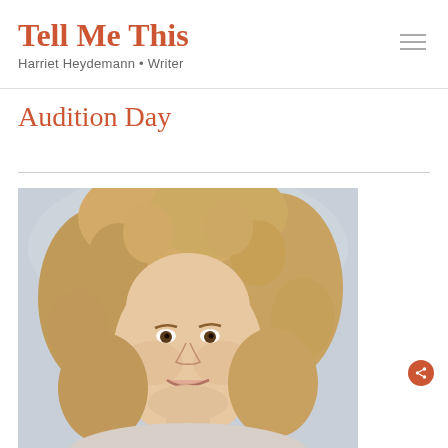Tell Me This
Harriet Heydemann • Writer
Audition Day
[Figure (photo): Close-up photograph of a smiling woman with curly blonde hair, looking slightly upward, outdoors with a light background.]